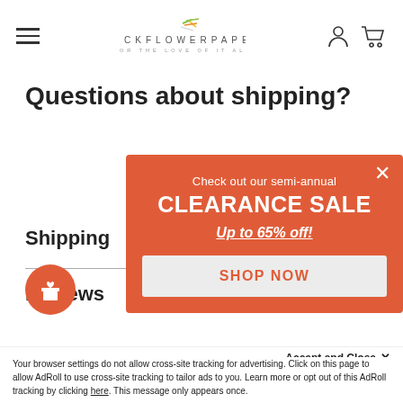Rockflowerpaper — For the Love of It All
Questions about shipping?
Shipping
Reviews
[Figure (screenshot): Modal popup with orange/coral background. Text reads: 'Check out our semi-annual CLEARANCE SALE Up to 65% off!' with a 'SHOP NOW' button on a light gray background. Close X button in top right corner.]
[Figure (illustration): Orange circular gift icon button in bottom left corner]
Accept and Close ✕
Your browser settings do not allow cross-site tracking for advertising. Click on this page to allow AdRoll to use cross-site tracking to tailor ads to you. Learn more or opt out of this AdRoll tracking by clicking here. This message only appears once.